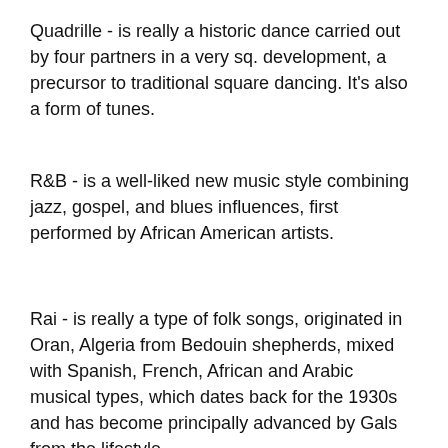Quadrille - is really a historic dance carried out by four partners in a very sq. development, a precursor to traditional square dancing. It's also a form of tunes.
R&B - is a well-liked new music style combining jazz, gospel, and blues influences, first performed by African American artists.
Rai - is really a type of folk songs, originated in Oran, Algeria from Bedouin shepherds, mixed with Spanish, French, African and Arabic musical types, which dates back for the 1930s and has become principally advanced by Gals from the lifestyle.